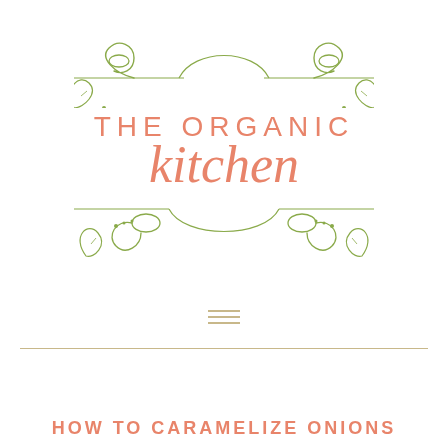[Figure (logo): The Organic Kitchen logo with decorative green scroll/swirl ornaments above and below the brand name. Top ornament has two spiral scrolls with leaf flourishes connected by curved lines. Bottom ornament mirrors the top. Brand name reads 'THE ORGANIC kitchen' in salmon/coral color, with 'THE ORGANIC' in uppercase sans-serif and 'kitchen' in italic script.]
HOW TO CARAMELIZE ONIONS